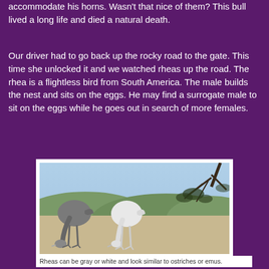accommodate his horns. Wasn't that nice of them? This bull lived a long life and died a natural death.
Our driver had to go back up the rocky road to the gate. This time she unlocked it and we watched rheas up the road. The rhea is a flightless bird from South America. The male builds the nest and sits on the eggs. He may find a surrogate male to sit on the eggs while he goes out in search of more females.
[Figure (photo): Two rheas (one gray, one white) standing on sandy ground with scrubby hills and trees in the background.]
Rheas can be gray or white and look similar to ostriches or emus.